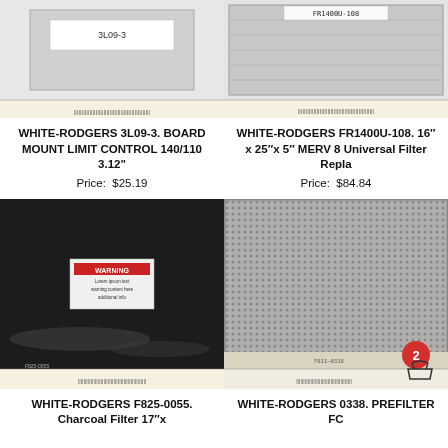[Figure (photo): Product photo of WHITE-RODGERS 3L09-3 board mount limit control with ruler]
WHITE-RODGERS 3L09-3. BOARD MOUNT LIMIT CONTROL 140/110 3.12"
Price: $25.19
[Figure (photo): Product photo of WHITE-RODGERS FR1400U-108 universal filter replacement with ruler]
WHITE-RODGERS FR1400U-108. 16″ x 25″x 5″ MERV 8 Universal Filter Repla
Price: $84.84
[Figure (photo): Product photo of WHITE-RODGERS F825-0055 charcoal filter wrapped in black plastic with warning label and ruler]
WHITE-RODGERS F825-0055. Charcoal Filter 17"x
[Figure (photo): Product photo of WHITE-RODGERS 0338 prefilter mesh filter with ruler, badge showing 2, and basket icon]
WHITE-RODGERS 0338. PREFILTER FC